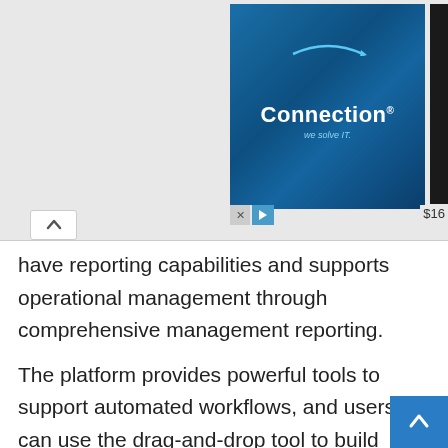[Figure (screenshot): Advertisement banner showing 'Connection we solve IT' logo on blue background, and a partial webcam product image with price '$16...' visible. Includes close/skip buttons at bottom.]
have reporting capabilities and supports operational management through comprehensive management reporting.
The platform provides powerful tools to support automated workflows, and users can use the drag-and-drop tool to build workflows. Moreover, it empowers operators with intuitive controlled screens guiding the operator through the collection process. The operator capability helps users in improving the response to the customers.